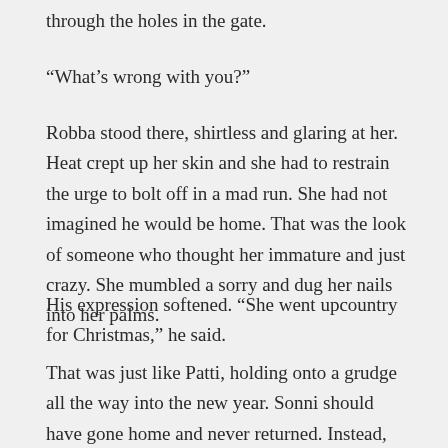through the holes in the gate.
“What’s wrong with you?”
Robba stood there, shirtless and glaring at her. Heat crept up her skin and she had to restrain the urge to bolt off in a mad run. She had not imagined he would be home. That was the look of someone who thought her immature and just crazy. She mumbled a sorry and dug her nails into her palms.
His expression softened. “She went upcountry for Christmas,” he said.
That was just like Patti, holding onto a grudge all the way into the new year. Sonni should have gone home and never returned. Instead, she